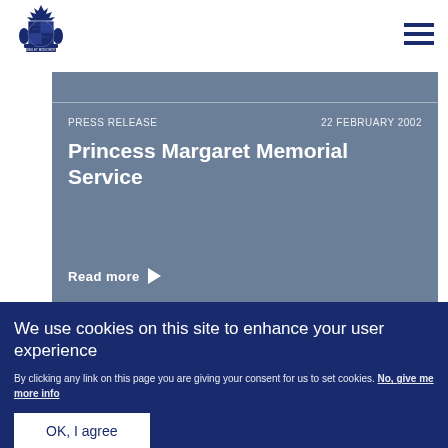[Figure (logo): Royal crest / coat of arms logo in dark navy blue]
PRESS RELEASE    22 FEBRUARY 2002
Princess Margaret Memorial Service
Read more ▶
We use cookies on this site to enhance your user experience
By clicking any link on this page you are giving your consent for us to set cookies. No, give me more info
OK, I agree